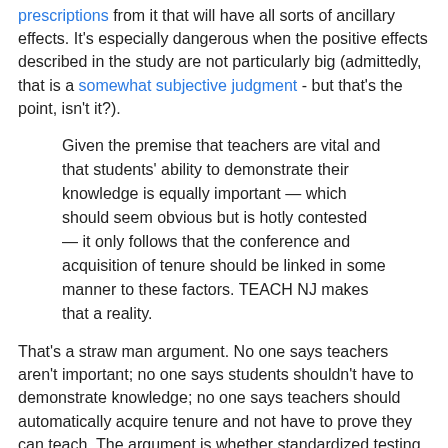prescriptions from it that will have all sorts of ancillary effects. It's especially dangerous when the positive effects described in the study are not particularly big (admittedly, that is a somewhat subjective judgment - but that's the point, isn't it?).
Given the premise that teachers are vital and that students' ability to demonstrate their knowledge is equally important — which should seem obvious but is hotly contested — it only follows that the conference and acquisition of tenure should be linked in some manner to these factors. TEACH NJ makes that a reality.
That's a straw man argument. No one says teachers aren't important; no one says students shouldn't have to demonstrate knowledge; no one says teachers should automatically acquire tenure and not have to prove they can teach. The argument is whether standardized testing is precise enough to help make high-stakes personnel decisions in schools.